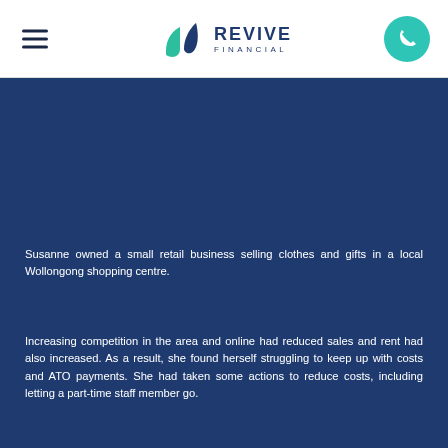Revive Financial
Susanne owned a small retail business selling clothes and gifts in a local Wollongong shopping centre.
Increasing competition in the area and online had reduced sales and rent had also increased. As a result, she found herself struggling to keep up with costs and ATO payments. She had taken some actions to reduce costs, including letting a part-time staff member go.